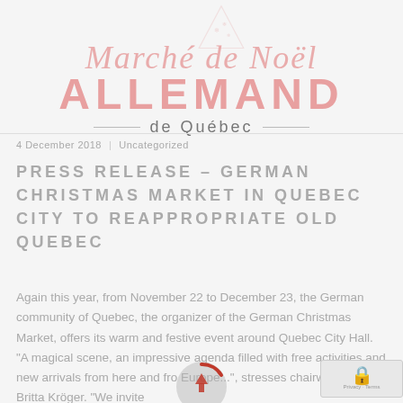[Figure (logo): Marché de Noël Allemand de Québec logo — script text 'Marché de Noël' in pink cursive above bold pink 'ALLEMAND' in large all-caps, with a pink snowflake/pie illustration, and 'de Québec' below with decorative lines]
4 December 2018 | Uncategorized
PRESS RELEASE – GERMAN CHRISTMAS MARKET IN QUEBEC CITY TO REAPPROPRIATE OLD QUEBEC
Again this year, from November 22 to December 23, the German community of Quebec, the organizer of the German Christmas Market, offers its warm and festive event around Quebec City Hall. "A magical scene, an impressive agenda filled with free activities and new arrivals from here and from Europe...", stresses chairwoman Britta Kröger. "We invite